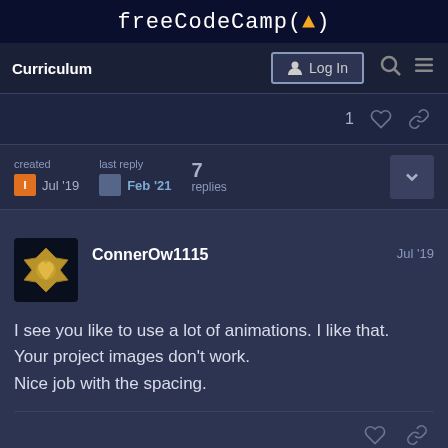freeCodeCamp(🔥)
Curriculum  Log In
1 ♡ 🔗
created Jul '19  last reply Feb '21  7 replies
ConnerOw1115  Jul '19
I see you like to use a lot of animations. I like that.
Your project images don't work.
Nice job with the spacing.
♡ 🔗